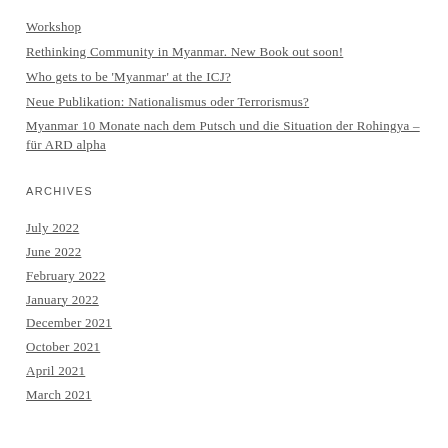Workshop
Rethinking Community in Myanmar. New Book out soon!
Who gets to be 'Myanmar' at the ICJ?
Neue Publikation: Nationalismus oder Terrorismus?
Myanmar 10 Monate nach dem Putsch und die Situation der Rohingya – für ARD alpha
ARCHIVES
July 2022
June 2022
February 2022
January 2022
December 2021
October 2021
April 2021
March 2021